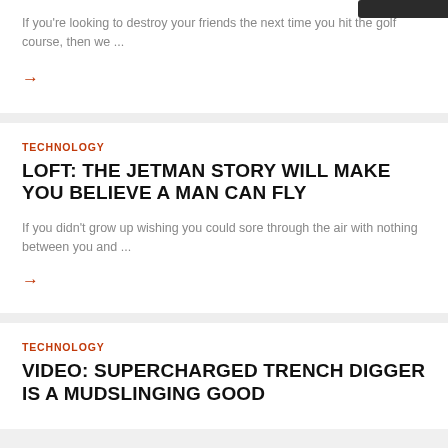If you're looking to destroy your friends the next time you hit the golf course, then we ...
→
TECHNOLOGY
LOFT: THE JETMAN STORY WILL MAKE YOU BELIEVE A MAN CAN FLY
If you didn't grow up wishing you could sore through the air with nothing between you and ...
→
TECHNOLOGY
VIDEO: SUPERCHARGED TRENCH DIGGER IS A MUDSLINGING GOOD